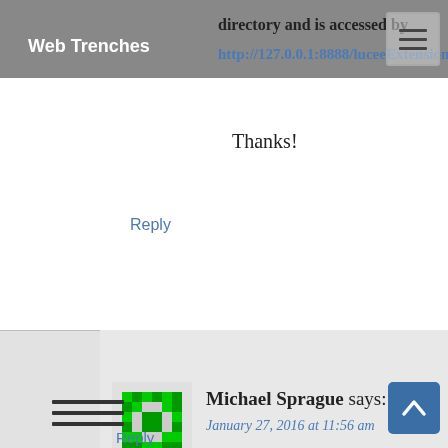Web Trenches | directory and is accessed by http://127.0.0.1:8888/luceeExtensionProvi
Thanks!
Reply
Michael Sprague says: January 27, 2016 at 11:56 am
@Randy – Glad it worked out for you. When you say that you had a corrupted archive, do you mean that the one on Github is corrupted when you download it? It seems like it is valid to me, but wanted to check.
Reply